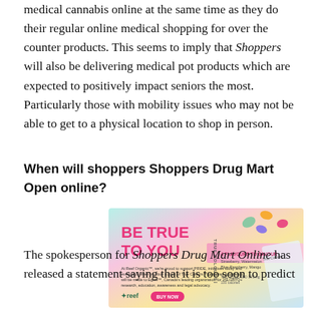medical cannabis online at the same time as they do their regular online medical shopping for over the counter products. This seems to imply that Shoppers will also be delivering medical pot products which are expected to positively impact seniors the most. Particularly those with mobility issues who may not be able to get to a physical location to shop in person.
When will shoppers Shoppers Drug Mart Open online?
[Figure (photo): Advertisement image with colorful gradient background showing 'BE TRUE TO YOU' text in pink, gummy candies, and reef brand logo with 'BUY NOW' button]
The spokesperson for Shoppers Drug Mart Online has released a statement saying that it is too soon to predict